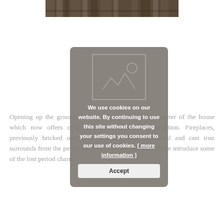[Figure (photo): Partial view of wooden/barn-style wall or floor surface at top of page]
Opening up the ground floor was integral to the character of the house which now offers creative and versatile accommodation. Fireplaces, previously bricked over and forgotten, were reinstated and cast iron surrounds from the period sourced from salvage yards to re introduce some of the lost period charm.
[Figure (screenshot): Cookie consent modal dialog with broken image placeholder, text reading 'We use cookies on our website. By continuing to use this site without changing your settings you consent to our use of cookies. [ more information ]' and an Accept button]